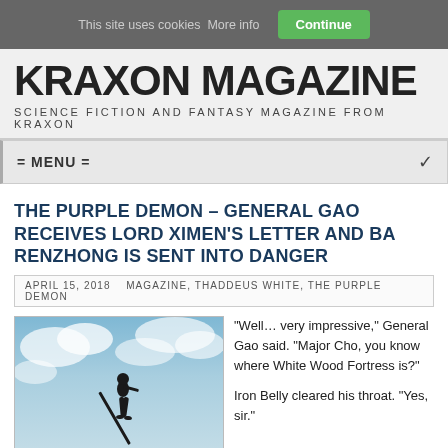This site uses cookies More info  Continue
KRAXON MAGAZINE
SCIENCE FICTION AND FANTASY MAGAZINE FROM KRAXON
= MENU =
THE PURPLE DEMON – GENERAL GAO RECEIVES LORD XIMEN'S LETTER AND BA RENZHONG IS SENT INTO DANGER
APRIL 15, 2018   MAGAZINE, THADDEUS WHITE, THE PURPLE DEMON
[Figure (photo): Silhouette of a warrior figure holding a staff/spear against a dramatic cloudy blue sky background]
“Well… very impressive,” General Gao said. “Major Cho, you know where White Wood Fortress is?”

Iron Belly cleared his throat. “Yes, sir.”